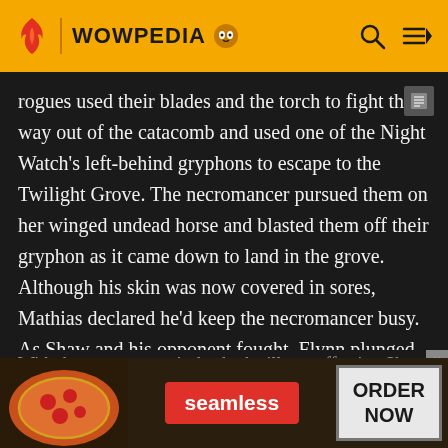WOWPEDIA
rogues used their blades and the torch to fight their way out of the catacomb and used one of the Night Watch's left-behind gryphons to escape to the Twilight Grove. The necromancer pursued them on her winged undead horse and blasted them off their gryphon as it came down to land in the grove. Although his skin was now covered in sores, Mathias declared he'd keep the necromancer busy. As Shaw and his opponent fought, Flynn plunged the torch into the moonwell, reigniting it and allowing him to use it to set the necromancer aflame and kill her.
With the necromancer's death, the illness affecting Sha
[Figure (screenshot): Seamless food delivery advertisement banner with pizza image, Seamless logo button, and ORDER NOW button]